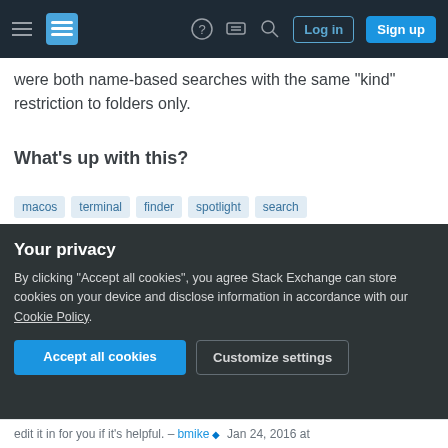Stack Exchange navigation bar with Log in and Sign up buttons
were both name-based searches with the same "kind" restriction to folders only.
What's up with this?
Tags: macos, terminal, finder, spotlight, search
Share | Improve this question | Follow
edited Jan 24, 2016 at 18:41 | bmike ◆ | 221k ● 77 ● 391 ● 846
asked Jan 24, 2016 at 18:21
Your privacy
By clicking "Accept all cookies", you agree Stack Exchange can store cookies on your device and disclose information in accordance with our Cookie Policy.
Accept all cookies | Customize settings
edit it in for you if it's helpful. – bmike ◆ Jan 24, 2016 at